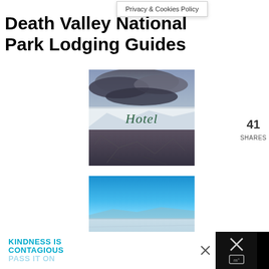Privacy & Cookies Policy
Death Valley National Park Lodging Guides
[Figure (photo): Hotel card image — top half shows dramatic stormy clouds over a desert landscape, middle band has cursive 'Hotel' text on a white/light strip, bottom half shows cracked dry salt flat desert ground]
41 SHARES
[Figure (photo): Airbnb card image — top half shows vivid blue sky over a desert/salt flat landscape, lower portion shows cursive 'Airbnb' text in green over the landscape]
KINDNESS IS CONTAGIOUS PASS IT ON